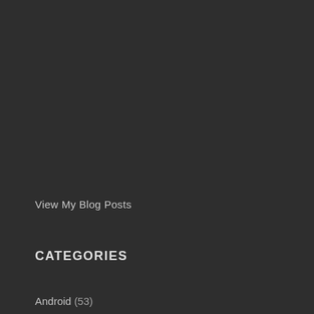View My Blog Posts
CATEGORIES
Android (53)